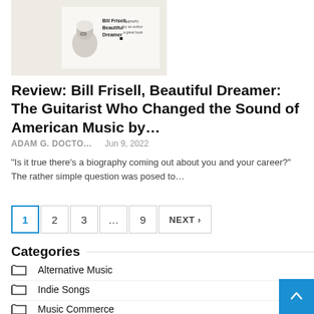[Figure (photo): Album cover photo showing a person with white hair and glasses facing sideways, with text 'Bill Frisell, Beautiful Dreamer' visible on the cover against a light background]
Review: Bill Frisell, Beautiful Dreamer: The Guitarist Who Changed the Sound of American Music by…
ADAM G. DOCTO…   Jun 9, 2022
"Is it true there's a biography coming out about you and your career?" The rather simple question was posed to…
1  2  3  ...  9  NEXT >
Categories
Alternative Music
Indie Songs
Music Commerce